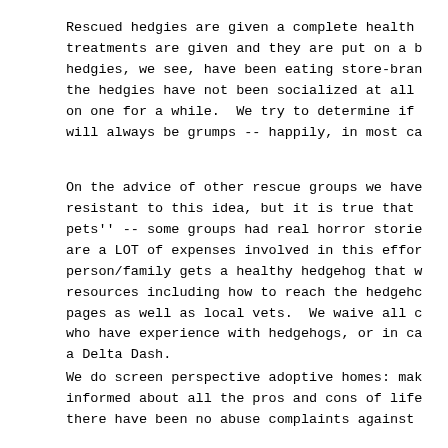Rescued hedgies are given a complete health treatments are given and they are put on a b hedgies, we see, have been eating store-bran the hedgies have not been socialized at all on one for a while.  We try to determine if will always be grumps -- happily, in most ca
On the advice of other rescue groups we have resistant to this idea, but it is true that pets'' -- some groups had real horror storie are a LOT of expenses involved in this effor person/family gets a healthy hedgehog that w resources including how to reach the hedgehc pages as well as local vets.  We waive all c who have experience with hedgehogs, or in ca a Delta Dash.
We do screen perspective adoptive homes: mak informed about all the pros and cons of life there have been no abuse complaints against